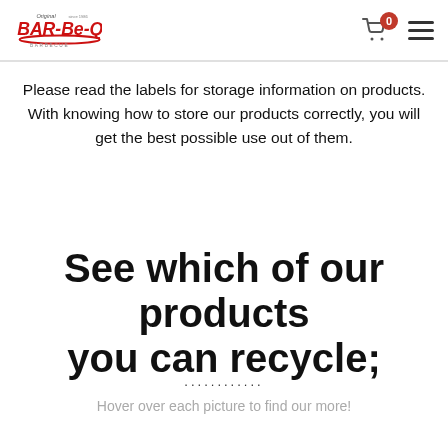Original Bar-Be-Quick logo, cart icon with badge 0, hamburger menu
Please read the labels for storage information on products. With knowing how to store our products correctly, you will get the best possible use out of them.
See which of our products you can recycle;
............
Hover over each picture to find our more!